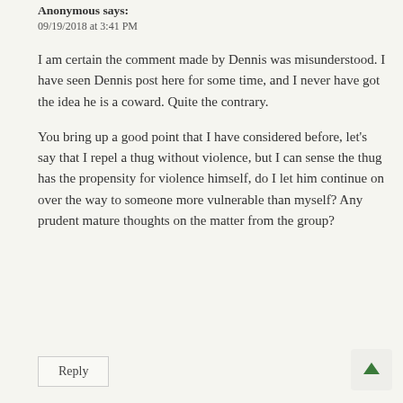Anonymous says:
09/19/2018 at 3:41 PM
I am certain the comment made by Dennis was misunderstood. I have seen Dennis post here for some time, and I never have got the idea he is a coward. Quite the contrary.
You bring up a good point that I have considered before, let's say that I repel a thug without violence, but I can sense the thug has the propensity for violence himself, do I let him continue on over the way to someone more vulnerable than myself? Any prudent mature thoughts on the matter from the group?